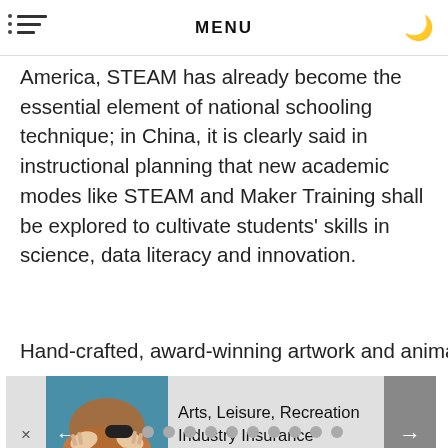MENU
America, STEAM has already become the essential element of national schooling technique; in China, it is clearly said in instructional planning that new academic modes like STEAM and Maker Training shall be explored to cultivate students' skills in science, data literacy and innovation.
Hand-crafted, award-winning artwork and animation
[Figure (photo): Pottery wheel with hands shaping clay, colorful glazes visible]
Arts, Leisure, Recreation Industry Insurance coverage